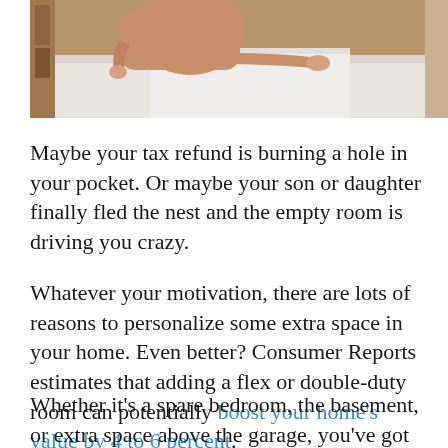[Figure (photo): A person making a bed, smoothing white sheets over a white bed surface. The person is wearing a light tan/beige long-sleeve top and leaning over the bed.]
Maybe your tax refund is burning a hole in your pocket. Or maybe your son or daughter finally fled the nest and the empty room is driving you crazy.
Whatever your motivation, there are lots of reasons to personalize some extra space in your home. Even better? Consumer Reports estimates that adding a flex or double-duty room can potentially boost your home's value by 4 to 6 percent.
Whether it's a spare bedroom, the basement, or extra space above the garage, you've got options. Looking for ideas? Check out this list.